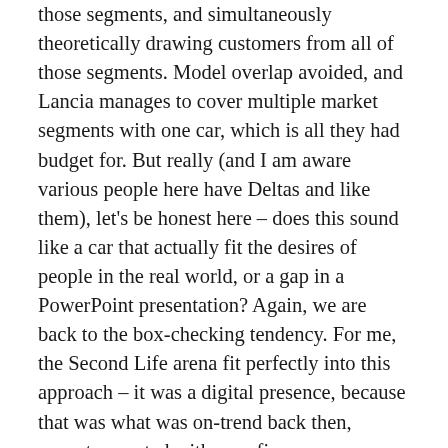those segments, and simultaneously theoretically drawing customers from all of those segments. Model overlap avoided, and Lancia manages to cover multiple market segments with one car, which is all they had budget for. But really (and I am aware various people here have Deltas and like them), let’s be honest here – does this sound like a car that actually fit the desires of people in the real world, or a gap in a PowerPoint presentation? Again, we are back to the box-checking tendency. For me, the Second Life arena fit perfectly into this approach – it was a digital presence, because that was what was on-trend back then, except executed with zero finesse or any understanding (and to be fair, likely budget) of what was needed to